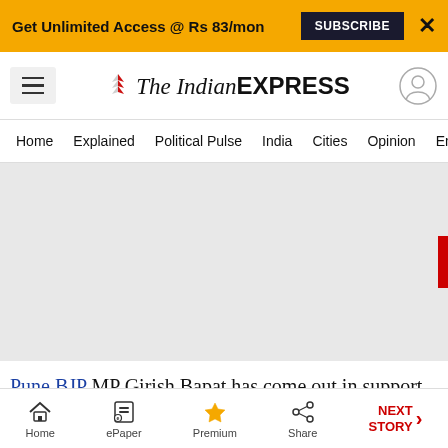Get Unlimited Access @ Rs 83/mon  SUBSCRIBE  X
The Indian EXPRESS
Home  Explained  Political Pulse  India  Cities  Opinion  Entertainment
[Figure (photo): Large grey placeholder image area for an article photo]
Pune BJP MP Girish Bapat has come out in support
Home  ePaper  Premium  Share  NEXT STORY